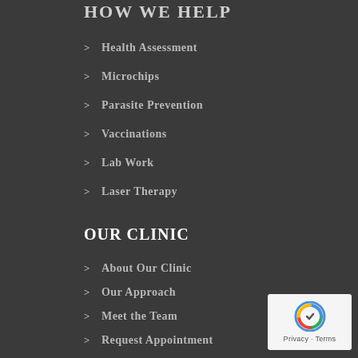HOW WE HELP
Health Assessment
Microchips
Parasite Prevention
Vaccinations
Lab Work
Laser Therapy
OUR CLINIC
About Our Clinic
Our Approach
Meet the Team
Request Appointment
Vet Blog
Privacy Policy
[Figure (logo): reCAPTCHA badge with Privacy and Terms links]